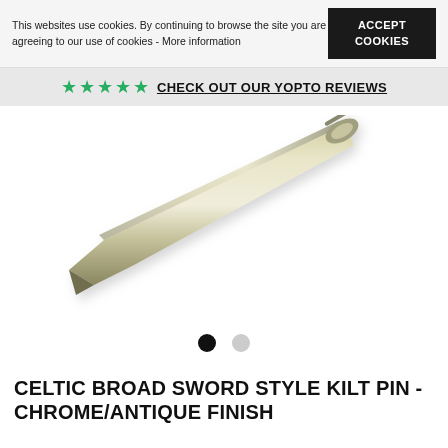This websites use cookies. By continuing to browse the site you are agreeing to our use of cookies - More information
ACCEPT COOKIES
★★★★★ CHECK OUT OUR YOPTO REVIEWS
[Figure (photo): Close-up photograph of a Celtic broad sword style kilt pin in chrome/antique finish, showing the pointed metallic blade at a diagonal angle against a white background.]
CELTIC BROAD SWORD STYLE KILT PIN - CHROME/ANTIQUE FINISH